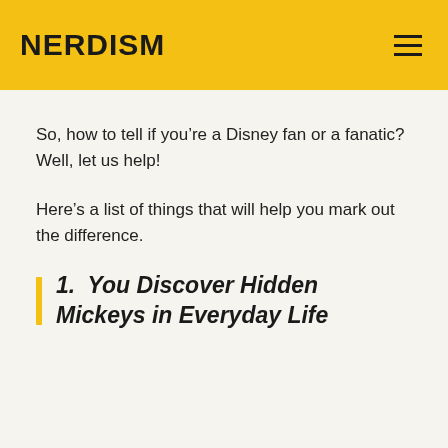NERDISM
So, how to tell if you’re a Disney fan or a fanatic? Well, let us help!
Here’s a list of things that will help you mark out the difference.
1. You Discover Hidden Mickeys in Everyday Life